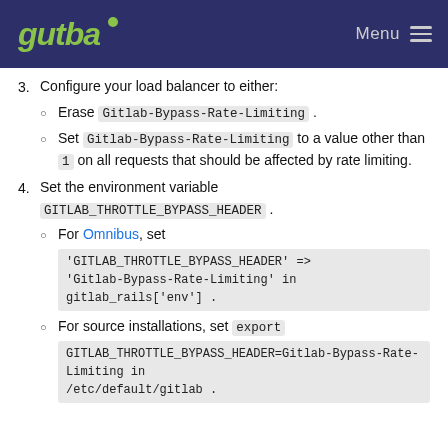Gutba | Menu
3. Configure your load balancer to either:
Erase Gitlab-Bypass-Rate-Limiting .
Set Gitlab-Bypass-Rate-Limiting to a value other than 1 on all requests that should be affected by rate limiting.
4. Set the environment variable GITLAB_THROTTLE_BYPASS_HEADER .
For Omnibus, set 'GITLAB_THROTTLE_BYPASS_HEADER' => 'Gitlab-Bypass-Rate-Limiting' in gitlab_rails['env'] .
For source installations, set export GITLAB_THROTTLE_BYPASS_HEADER=Gitlab-Bypass-Rate-Limiting in /etc/default/gitlab .